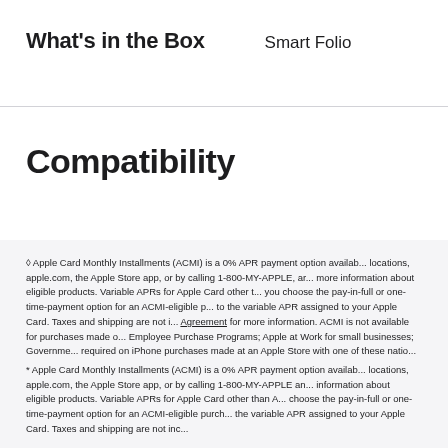What's in the Box
Smart Folio
Compatibility
◊ Apple Card Monthly Installments (ACMI) is a 0% APR payment option available at Apple retail locations, apple.com, the Apple Store app, or by calling 1-800-MY-APPLE, and is subject to credit approval and credit limit. See Apple Card Customer Agreement for more information. ACMI is not available for purchases made on refurbished products; Employee Purchase Programs; Apple at Work for small businesses; Government, Healthcare, or Education pricing; or with a CareCredit card. iPhone activation required on iPhone purchases made at an Apple Store with one of these national carriers.
* Apple Card Monthly Installments (ACMI) is a 0% APR payment option available at Apple retail locations, apple.com, the Apple Store app, or by calling 1-800-MY-APPLE and is subject to credit approval and credit limit. See Apple Card Customer Agreement for more information about eligible products. Variable APRs for Apple Card other than ACMI range from choose the pay-in-full or one-time-payment option for an ACMI-eligible purchase, the variable APR assigned to your Apple Card. Taxes and shipping are not included.